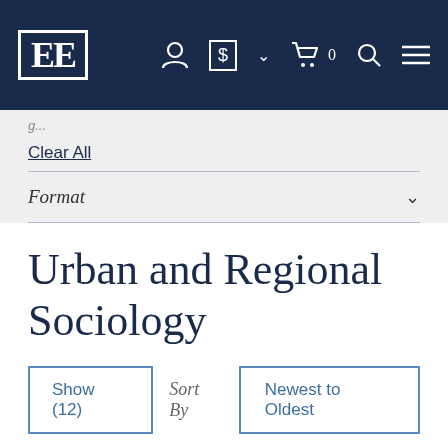EE [logo] navigation bar with account, currency, cart, search, and menu icons
Clear All
Format
Urban and Regional Sociology
Show (12)  Sort By  Newest to Oldest
Add to Wish List ☆